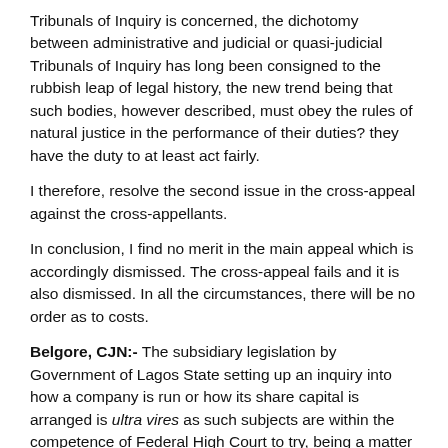Tribunals of Inquiry is concerned, the dichotomy between administrative and judicial or quasi-judicial Tribunals of Inquiry has long been consigned to the rubbish leap of legal history, the new trend being that such bodies, however described, must obey the rules of natural justice in the performance of their duties? they have the duty to at least act fairly.
I therefore, resolve the second issue in the cross-appeal against the cross-appellants.
In conclusion, I find no merit in the main appeal which is accordingly dismissed. The cross-appeal fails and it is also dismissed. In all the circumstances, there will be no order as to costs.
Belgore, CJN:- The subsidiary legislation by Government of Lagos State setting up an inquiry into how a company is run or how its share capital is arranged is ultra vires as such subjects are within the competence of Federal High Court to try, being a matter in the Exclusive List relating to Company Legislation.